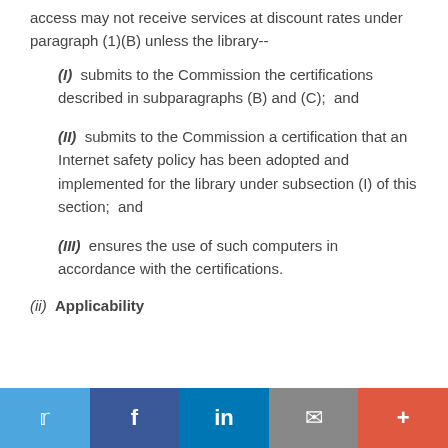access may not receive services at discount rates under paragraph (1)(B) unless the library--
(I)  submits to the Commission the certifications described in subparagraphs (B) and (C);  and
(II)  submits to the Commission a certification that an Internet safety policy has been adopted and implemented for the library under subsection (I) of this section;  and
(III)  ensures the use of such computers in accordance with the certifications.
(ii)  Applicability